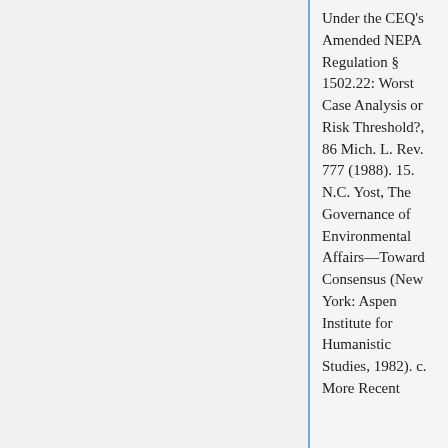Under the CEQ's Amended NEPA Regulation § 1502.22: Worst Case Analysis or Risk Threshold?, 86 Mich. L. Rev. 777 (1988). 15. N.C. Yost, The Governance of Environmental Affairs—Toward Consensus (New York: Aspen Institute for Humanistic Studies, 1982). c. More Recent